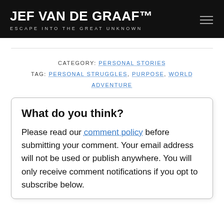JEF VAN DE GRAAF™ — ESCAPE INTO THE GREAT UNKNOWN
CATEGORY: PERSONAL STORIES
TAG: PERSONAL STRUGGLES, PURPOSE, WORLD ADVENTURE
What do you think?
Please read our comment policy before submitting your comment. Your email address will not be used or publish anywhere. You will only receive comment notifications if you opt to subscribe below.